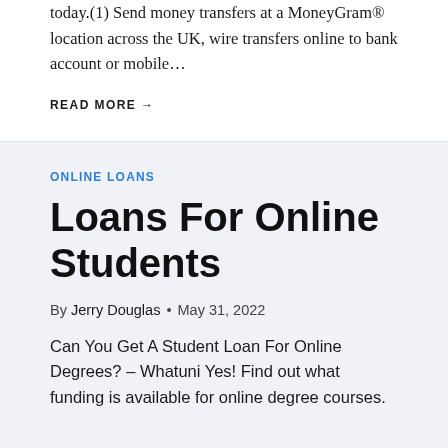today.(1) Send money transfers at a MoneyGram® location across the UK, wire transfers online to bank account or mobile…
READ MORE →
ONLINE LOANS
Loans For Online Students
By Jerry Douglas • May 31, 2022
Can You Get A Student Loan For Online Degrees? – Whatuni Yes! Find out what funding is available for online degree courses.